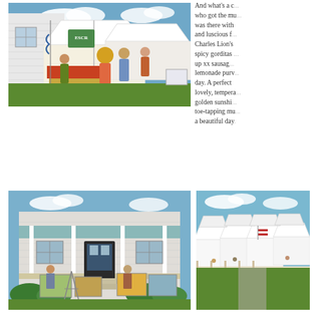[Figure (photo): Outdoor festival/market scene with white tents, vendor stalls, and people browsing, set against a white wooden building and blue sky with clouds]
And what's a community event without food who got the mu... was there with and luscious f... Charles Lion's spicy gorditas ... up xx sausag... lemonade purv... day. A perfect lovely, tempera... golden sunshi... toe-tapping mu... a beautiful day.
[Figure (photo): White historic building with a covered front porch, people gathered around, and artwork displayed outside. Green bushes line the front.]
[Figure (photo): Outdoor art festival with white tents in rows on a green lawn under a blue sky with clouds]